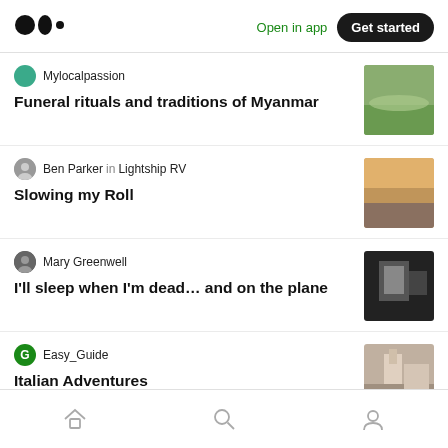Medium logo | Open in app | Get started
Mylocalpassion — Funeral rituals and traditions of Myanmar
Ben Parker in Lightship RV — Slowing my Roll
Mary Greenwell — I'll sleep when I'm dead… and on the plane
Easy_Guide — Italian Adventures
Home | Search | Profile navigation icons